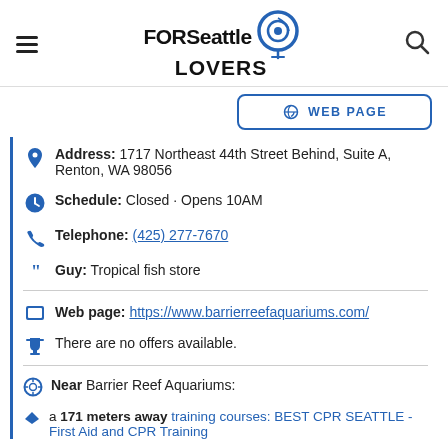FORSeattle LOVERS
WEB PAGE
Address: 1717 Northeast 44th Street Behind, Suite A, Renton, WA 98056
Schedule: Closed · Opens 10AM
Telephone: (425) 277-7670
Guy: Tropical fish store
Web page: https://www.barrierreefaquariums.com/
There are no offers available.
Near Barrier Reef Aquariums:
a 171 meters away training courses: BEST CPR SEATTLE - First Aid and CPR Training